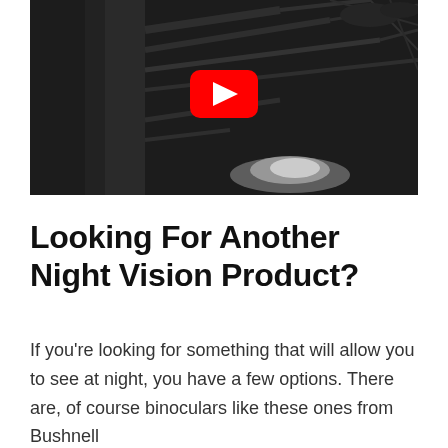[Figure (screenshot): A YouTube video thumbnail showing a black and white night vision image of tree branches and foliage with a glowing white area at the bottom center. A red YouTube play button is centered on the image.]
Looking For Another Night Vision Product?
If you're looking for something that will allow you to see at night, you have a few options. There are, of course binoculars like these ones from Bushnell